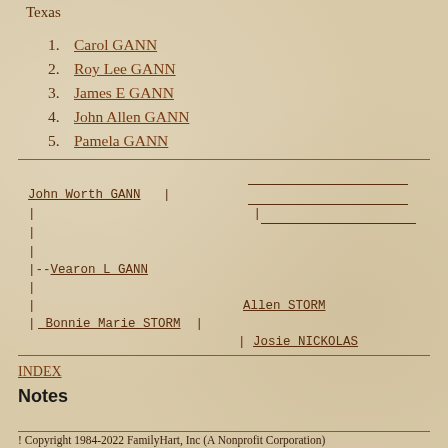Texas
1.  Carol GANN
2.  Roy Lee GANN
3.  James E GANN
4.  John Allen GANN
5.  Pamela GANN
John Worth GANN | (lines) |--Vearon L GANN | | Bonnie Marie STORM | Allen STORM | Josie NICKOLAS
INDEX
Notes
! Copyright 1984-2022 FamilyHart, Inc (A Nonprofit Corporation)